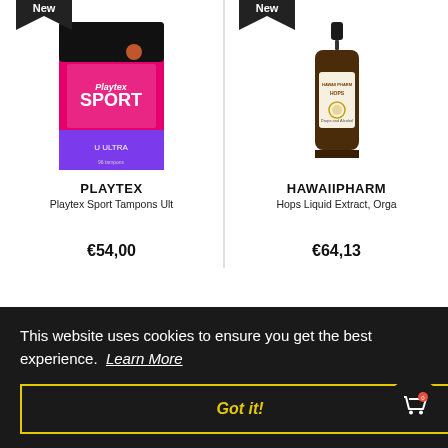[Figure (photo): Product card for Playtex Sport Tampons Ult with 'New' ribbon banner, showing product box image, brand name PLAYTEX, product name 'Playtex Sport Tampons Ult', price €54,00]
[Figure (photo): Product card for HawaiiPharm Hops Liquid Extract Orga with 'New' ribbon banner, showing brown dropper bottle image, brand name HAWAIIPHARM, product name 'Hops Liquid Extract, Orga', price €64,13]
This website uses cookies to ensure you get the best experience. Learn More
Got it!